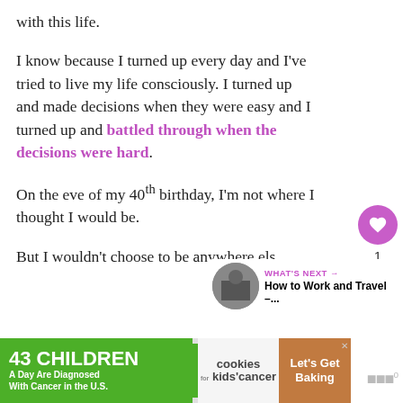with this life.
I know because I turned up every day and I've tried to live my life consciously. I turned up and made decisions when they were easy and I turned up and battled through when the decisions were hard.
On the eve of my 40th birthday, I'm not where I thought I would be.
But I wouldn't choose to be anywhere else
[Figure (infographic): Like button (heart icon, purple circle) with count of 1, and a share button below it]
[Figure (infographic): What's Next arrow label in purple, with thumbnail image and text 'How to Work and Travel –...']
[Figure (infographic): Ad banner: '43 CHILDREN A Day Are Diagnosed With Cancer in the U.S.' with cookies for kids' cancer logo and 'Let's Get Baking' button]